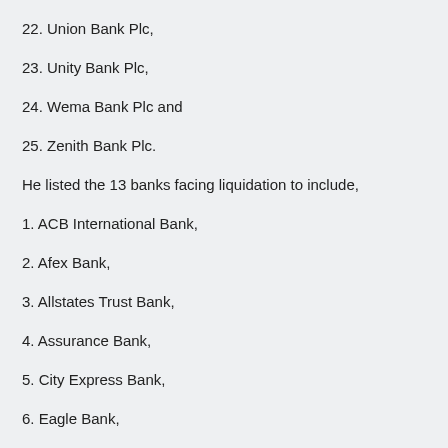22. Union Bank Plc,
23. Unity Bank Plc,
24. Wema Bank Plc and
25. Zenith Bank Plc.
He listed the 13 banks facing liquidation to include,
1. ACB International Bank,
2. Afex Bank,
3. Allstates Trust Bank,
4. Assurance Bank,
5. City Express Bank,
6. Eagle Bank,
7. Fortune Bank,
8. Gulf Bank,
9. Hallmark Bank,